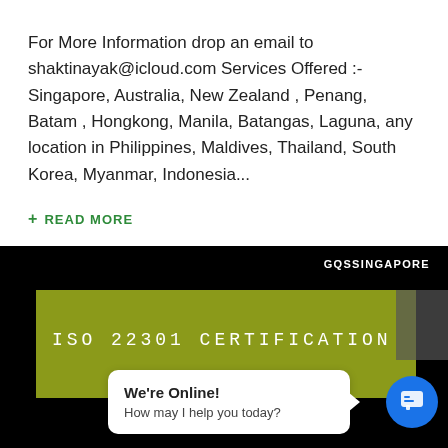For More Information drop an email to shaktinayak@icloud.com Services Offered :- Singapore, Australia, New Zealand , Penang, Batam , Hongkong, Manila, Batangas, Laguna, any location in Philippines, Maldives, Thailand, South Korea, Myanmar, Indonesia...
+ READ MORE
[Figure (screenshot): Black background banner with GQSSINGAPORE label in top right, olive/yellow-green rectangle containing 'ISO 22301 CERTIFICATION' in monospace white text, a white chat bubble saying 'We're Online! How may I help you today?' with a blue circular chat icon]